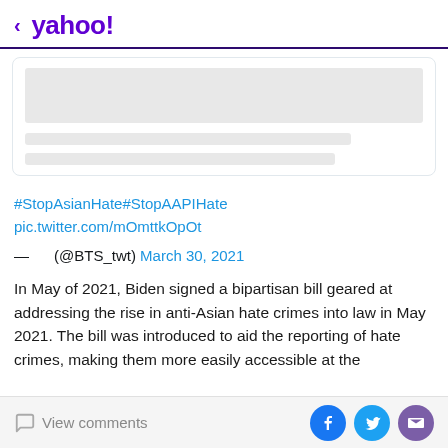< yahoo!
[Figure (screenshot): Tweet card placeholder with gray loading bars representing an embedded tweet image and text]
#StopAsianHate#StopAAPIHate
pic.twitter.com/mOmttkOpOt
— (@BTS_twt) March 30, 2021
In May of 2021, Biden signed a bipartisan bill geared at addressing the rise in anti-Asian hate crimes into law in May 2021. The bill was introduced to aid the reporting of hate crimes, making them more easily accessible at the
View comments | Facebook | Twitter | Email